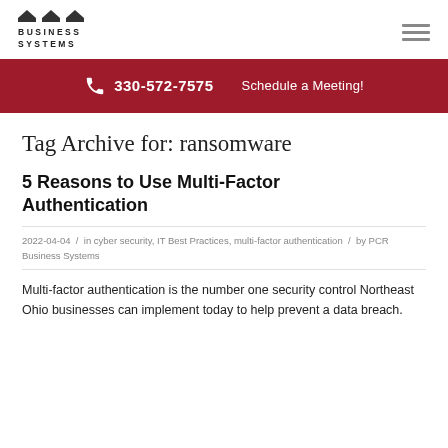PCR Business Systems logo and navigation
330-572-7575   Schedule a Meeting!
Tag Archive for: ransomware
5 Reasons to Use Multi-Factor Authentication
2022-04-04 / in cyber security, IT Best Practices, multi-factor authentication / by PCR Business Systems
Multi-factor authentication is the number one security control Northeast Ohio businesses can implement today to help prevent a data breach.